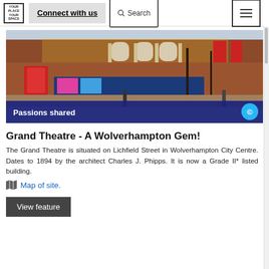YOUR PLACE YOUR SPACE | Connect with us | Search
[Figure (photo): Exterior photo of the Grand Theatre building on Lichfield Street, Wolverhampton. A red brick Victorian-era building with arched windows and colonnades. A blue shop front is visible at street level. A 'Passions shared' caption bar appears at the bottom of the image with a copyright circle icon.]
Grand Theatre - A Wolverhampton Gem!
The Grand Theatre is situated on Lichfield Street in Wolverhampton City Centre. Dates to 1894 by the architect Charles J. Phipps. It is now a Grade II* listed building.
Map of site.